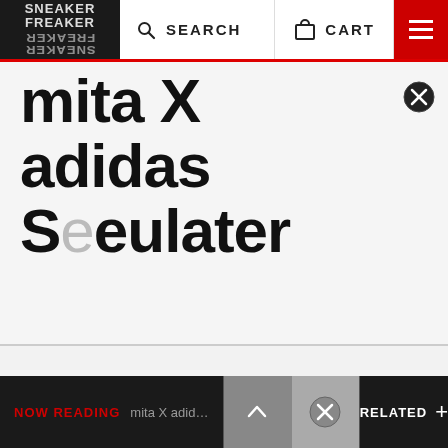SNEAKER FREAKER | SEARCH | CART | Menu
mita X adidas Seeulater
NOW READING  mita X adidas Seeu  ↑  ✕  RELATED  +